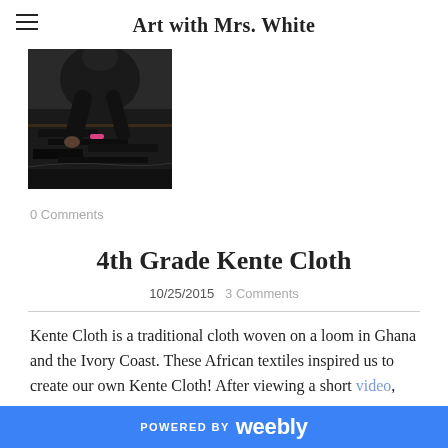Art with Mrs. White
[Figure (photo): Person leaning over art supplies and materials spread on floor, working on art project]
0 Comments
4th Grade Kente Cloth
10/25/2015   3 Comments
Kente Cloth is a traditional cloth woven on a loom in Ghana and the Ivory Coast. These African textiles inspired us to create our own Kente Cloth! After viewing a short video,
POWERED BY weebly